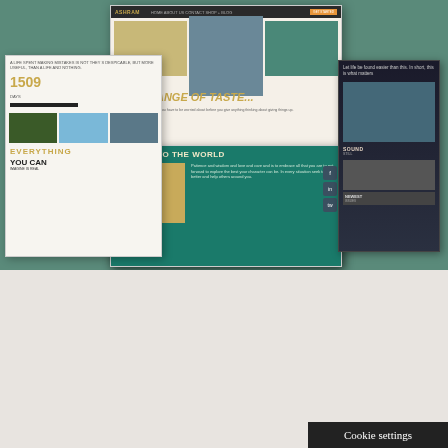[Figure (screenshot): Collage of website demo screenshots showing the Ashram WordPress theme with multiple page layouts including a fashion/lifestyle site with 'THE CHANGE OF TASTE...' headline, a teal travel site with 'BE OPEN TO THE WORLD', and other demo pages.]
Check out the demos
Ashram WPKoi WordPress theme is free and a Ashram Premium plugin is also available. You can check here the premade sites built with the free and premium versions.